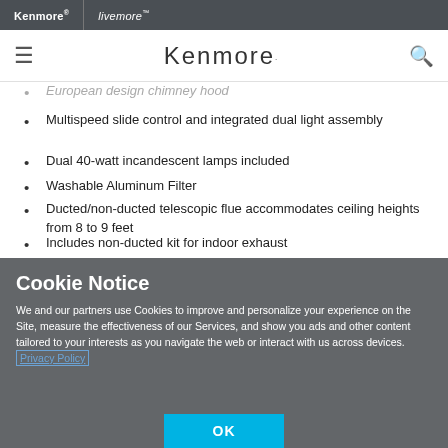Kenmore® livemore™
European design chimney hood
Multispeed slide control and integrated dual light assembly
Dual 40-watt incandescent lamps included
Washable Aluminum Filter
Ducted/non-ducted telescopic flue accommodates ceiling heights from 8 to 9 feet
Includes non-ducted kit for indoor exhaust
Cookie Notice
We and our partners use Cookies to improve and personalize your experience on the Site, measure the effectiveness of our Services, and show you ads and other content tailored to your interests as you navigate the web or interact with us across devices. Privacy Policy